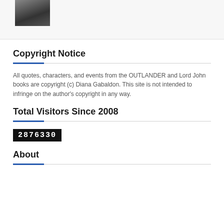[Figure (photo): Small black and white thumbnail photo, appears to show a person or figure, positioned in the top-left area of the page header section.]
Copyright Notice
All quotes, characters, and events from the OUTLANDER and Lord John books are copyright (c) Diana Gabaldon. This site is not intended to infringe on the author's copyright in any way.
Total Visitors Since 2008
2876330
About